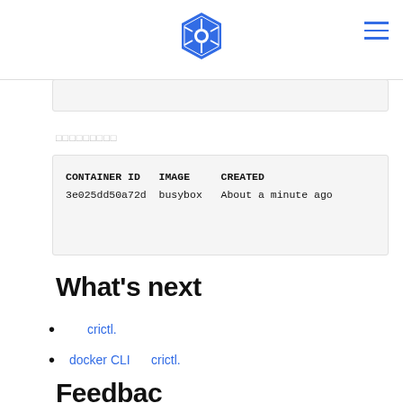[Figure (logo): Kubernetes helm wheel logo in blue]
[Figure (other): Hamburger menu icon with three blue horizontal lines]
[code snippet top bar - partial content]
□□□□□□□□□
CONTAINER ID   IMAGE     CREATED
3e025dd50a72d  busybox   About a minute ago
What's next
crictl.
docker CLI   crictl.
Feedback